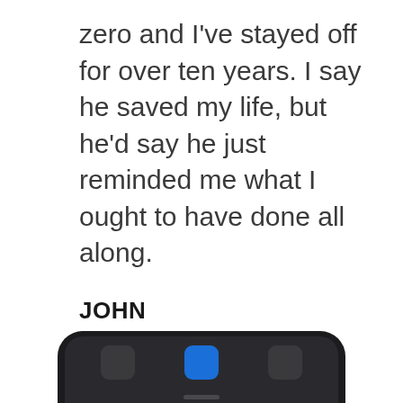zero and I've stayed off for over ten years. I say he saved my life, but he'd say he just reminded me what I ought to have done all along.
JOHN
Louisiana
[Figure (photo): Bottom portion of a dark smartphone device with app icons visible on screen]